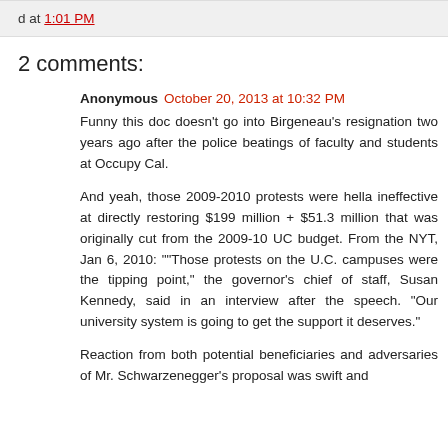d at 1:01 PM
2 comments:
Anonymous October 20, 2013 at 10:32 PM
Funny this doc doesn't go into Birgeneau's resignation two years ago after the police beatings of faculty and students at Occupy Cal.

And yeah, those 2009-2010 protests were hella ineffective at directly restoring $199 million + $51.3 million that was originally cut from the 2009-10 UC budget. From the NYT, Jan 6, 2010: ""Those protests on the U.C. campuses were the tipping point," the governor's chief of staff, Susan Kennedy, said in an interview after the speech. "Our university system is going to get the support it deserves."

Reaction from both potential beneficiaries and adversaries of Mr. Schwarzenegger's proposal was swift and